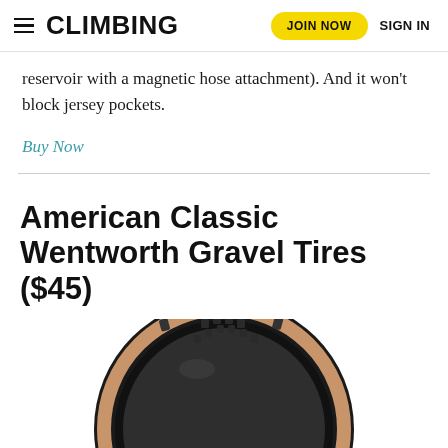CLIMBING | JOIN NOW | SIGN IN
reservoir with a magnetic hose attachment). And it won't block jersey pockets.
Buy Now
American Classic Wentworth Gravel Tires ($45)
[Figure (photo): Photo of a black and tan American Classic Wentworth Gravel tire, partially cropped, showing knobbly tread pattern and tan sidewall]